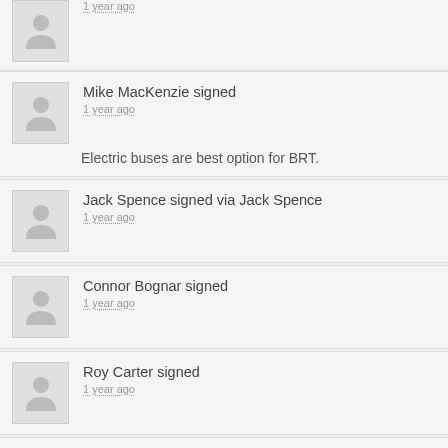1 year ago
Mike MacKenzie signed
1 year ago
Electric buses are best option for BRT.
Jack Spence signed via Jack Spence
1 year ago
Connor Bognar signed
1 year ago
Roy Carter signed
1 year ago
Carol Agocs signed
1 year ago